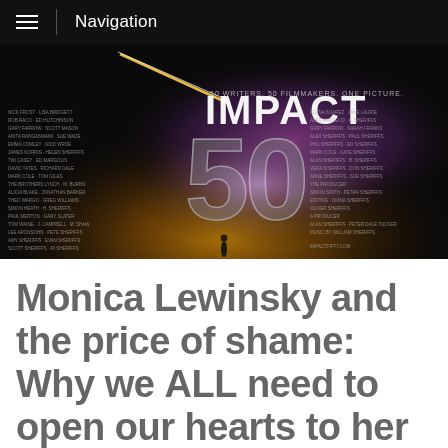Navigation
[Figure (photo): Movie poster for 'Impact 50' — a dark cinematic image showing large glowing text '50' and 'IMPACT' against a dramatic sky with a meteor streak, a lone silhouetted figure in the foreground, and columns of small text credits on both sides. Tagline: '50 Writers. 50 Filmmakers. One Picture.']
Monica Lewinsky and the price of shame: Why we ALL need to open our hearts to her message